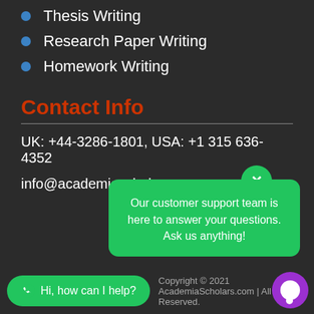Thesis Writing
Research Paper Writing
Homework Writing
Contact Info
UK: +44-3286-1801, USA: +1 315 636-4352
info@academiascholars.com
[Figure (screenshot): Green chat popup bubble with text 'Our customer support team is here to answer your questions. Ask us anything!' and a close (x) button]
Copyright © 2021 AcademiaScholars.com | All Rights Reserved.